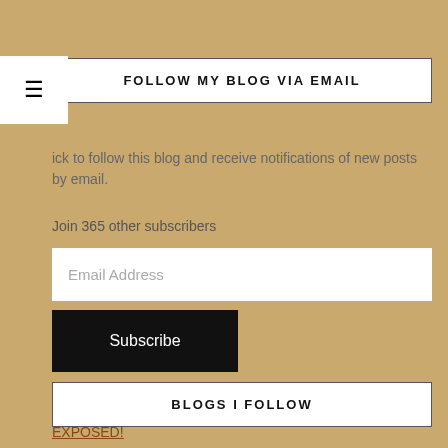FOLLOW MY BLOG VIA EMAIL
ick to follow this blog and receive notifications of new posts by email.
Join 365 other subscribers
Email Address
Subscribe
BLOGS I FOLLOW
EXPOSED!